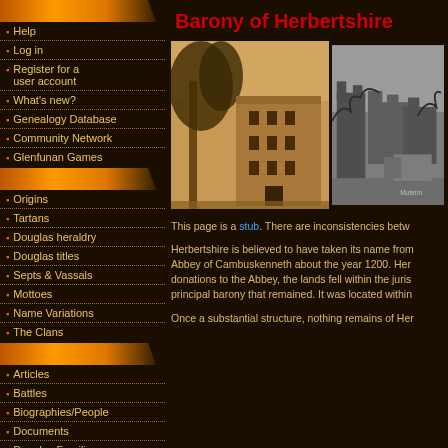Barony of Herbertshire
Help
Log in
Register for a user account
What's new?
Genealogy Database
Community Network
Glenfunan Games
Origins
Tartans
Douglas heraldry
Douglas titles
Septs & Vassals
Mottoes
Name Variations
The Clans
Articles
Battles
Biographies/People
Documents
Douglas Families
Family Trees
Histories
[Figure (photo): Two historical photographs: left is a sepia-toned photo of a Scottish castle/mansion with large tree in foreground; right is a black and white photo of castle ruins]
This page is a stub. There are inconsistencies betw
Herbertshire is believed to have taken its name from Abbey of Cambuskenneth about the year 1200. Her donations to the Abbey, the lands fell within the juris principal barony that remained. It was located within
Once a substantial structure, nothing remains of Her